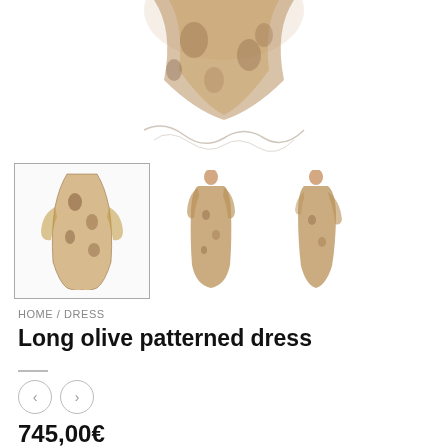[Figure (photo): Top portion of a long olive patterned dress with floral crepon silk fabric, cropped at top of page]
[Figure (photo): Three thumbnail images of the long olive patterned dress: first thumbnail selected with border, second front-facing model view, third side-facing model view]
HOME / DRESS
Long olive patterned dress
[Figure (other): Left and right navigation arrow buttons (circular outline buttons)]
745,00€
This long dress in a patterned crepon silk offers effortless style. The lining is a delicate solid colour silk. Soft bodice